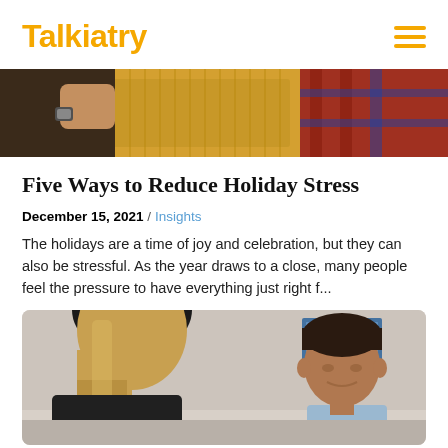Talkiatry
[Figure (photo): Cropped photo showing a person in a yellow knit sweater and another in a plaid red and blue jacket, appearing festive/holiday themed]
Five Ways to Reduce Holiday Stress
December 15, 2021 / Insights
The holidays are a time of joy and celebration, but they can also be stressful. As the year draws to a close, many people feel the pressure to have everything just right f...
[Figure (photo): Photo of a therapy or counseling session: a woman with long blonde hair seen from behind facing a man with short dark hair in a light blue shirt, seated in an office with a framed picture on the wall]